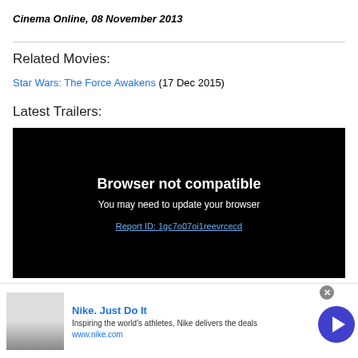Cinema Online, 08 November 2013
Related Movies:
Star Wars: The Force Awakens (17 Dec 2015)
Latest Trailers:
[Figure (screenshot): Black video player box showing 'Browser not compatible' message with text 'You may need to update your browser' and a report link 'Report ID: 1gc7o07oi1reevrcecd']
[Figure (screenshot): Advertisement banner for Nike. Just Do It - showing a product image, text 'Inspiring the world's athletes, Nike delivers the deals', URL www.nike.com, and a blue circular arrow button]